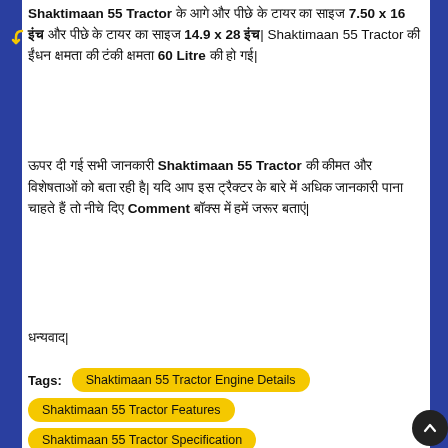Shaktimaan 55 Tractor के आगे और पीछे के टायर का साइज 7.50 x 16 इंच और पीछे के टायर का साइज 14.9 x 28 इंच| Shaktimaan 55 Tractor की ईंधन क्षमता की टंकी क्षमता 60 Litre की हो गई|
ऊपर दी गई सभी जानकारी Shaktimaan 55 Tractor की कीमत और विशेषताओं को बता रही है| यदि आप इस ट्रैक्टर के बारे में अधिक जानकारी पाना चाहते हैं तो नीचे दिए Comment बॉक्स में हमें जरूर बताएं|
धन्यवाद|
Tags:
Shaktimaan 55 Tractor Engine Details
Shaktimaan 55 Tractor Features
Shaktimaan 55 Tractor Specification